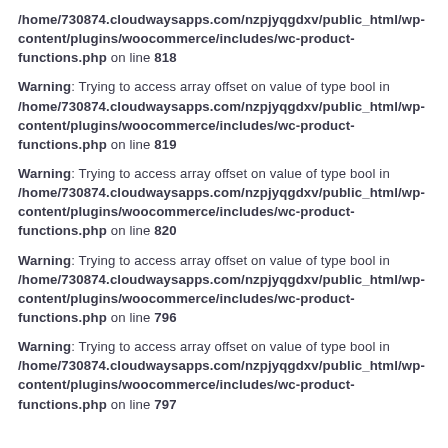/home/730874.cloudwaysapps.com/nzpjyqgdxv/public_html/wp-content/plugins/woocommerce/includes/wc-product-functions.php on line 818
Warning: Trying to access array offset on value of type bool in /home/730874.cloudwaysapps.com/nzpjyqgdxv/public_html/wp-content/plugins/woocommerce/includes/wc-product-functions.php on line 819
Warning: Trying to access array offset on value of type bool in /home/730874.cloudwaysapps.com/nzpjyqgdxv/public_html/wp-content/plugins/woocommerce/includes/wc-product-functions.php on line 820
Warning: Trying to access array offset on value of type bool in /home/730874.cloudwaysapps.com/nzpjyqgdxv/public_html/wp-content/plugins/woocommerce/includes/wc-product-functions.php on line 796
Warning: Trying to access array offset on value of type bool in /home/730874.cloudwaysapps.com/nzpjyqgdxv/public_html/wp-content/plugins/woocommerce/includes/wc-product-functions.php on line 797